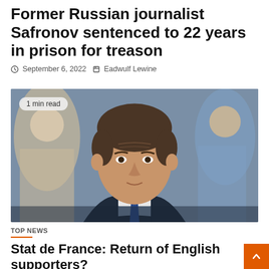Former Russian journalist Safronov sentenced to 22 years in prison for treason
September 6, 2022  Eadwulf Lewine
[Figure (photo): A man in a dark suit and blue tie in the foreground, looking slightly upward. Several people visible blurred in the background. A '1 min read' badge overlaid on the top-left of the image.]
TOP NEWS
Stat de France: Return of English supporters?